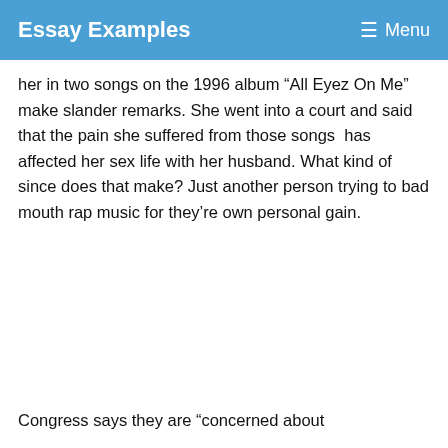Essay Examples  ☰ Menu
her in two songs on the 1996 album “All Eyez On Me” make slander remarks. She went into a court and said that the pain she suffered from those songs  has affected her sex life with her husband. What kind of since does that make? Just another person trying to bad mouth rap music for they’re own personal gain.
Congress says they are “concerned about